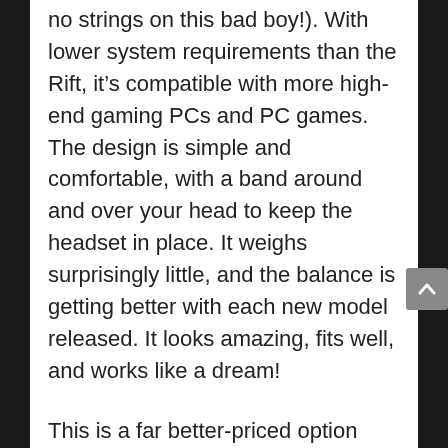no strings on this bad boy!). With lower system requirements than the Rift, it's compatible with more high-end gaming PCs and PC games. The design is simple and comfortable, with a band around and over your head to keep the headset in place. It weighs surprisingly little, and the balance is getting better with each new model released. It looks amazing, fits well, and works like a dream!
This is a far better-priced option than the Oculus Rift, with more customizability. However, it's definitely not a product for the tech-challenged. If you're not a PC whiz, this may be a bit over your head.